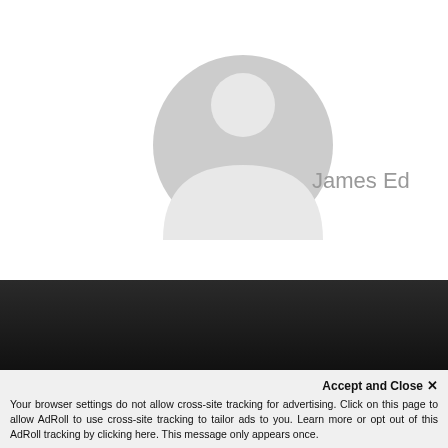[Figure (illustration): Generic grey default user avatar silhouette — circular outline with head and shoulders shape]
James Ed
[Figure (photo): Dark gradient background section, nearly black]
Accept and Close ✕
Your browser settings do not allow cross-site tracking for advertising. Click on this page to allow AdRoll to use cross-site tracking to tailor ads to you. Learn more or opt out of this AdRoll tracking by clicking here. This message only appears once.